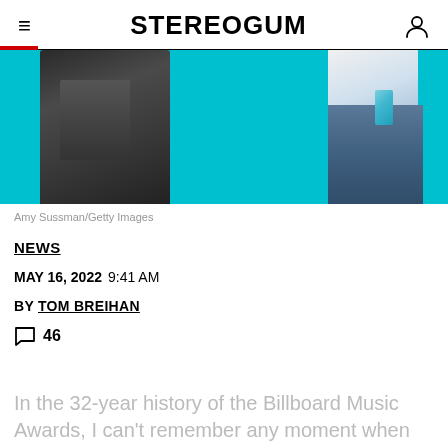STEREOGUM
[Figure (photo): Two people on stage, one in a shiny dark jacket and one in jeans holding trophies, against a cyan/teal background. Billboard Music Awards performance/acceptance.]
Amy Sussman/Getty Images
NEWS
MAY 16, 2022  9:41 AM
BY TOM BREIHAN
46
In the 32-year history of the Billboard Music Awards, I can't remember any moment when